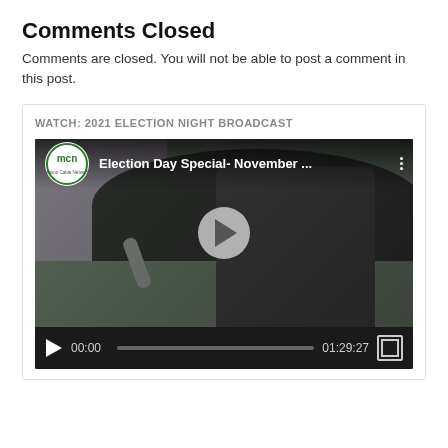Comments Closed
Comments are closed. You will not be able to post a comment in this post.
WATCH: 2021 ELECTION NIGHT BROADCAST
[Figure (screenshot): Embedded YouTube video player showing 'Election Day Special- November ...' from MCN (Mason Cable Network). The video thumbnail shows a man being interviewed outdoors under a large black umbrella with a microphone. The player controls show 00:00 current time and 01:29:27 total duration.]